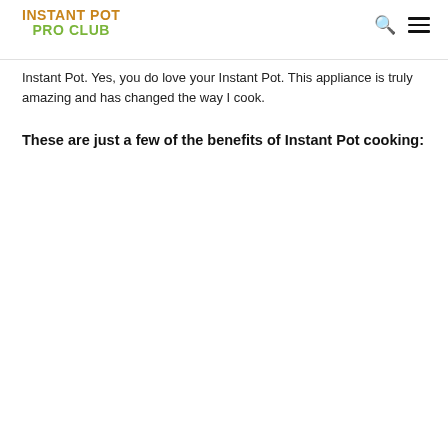INSTANT POT PRO CLUB
Instant Pot. Yes, you do love your Instant Pot. This appliance is truly amazing and has changed the way I cook.
These are just a few of the benefits of Instant Pot cooking: